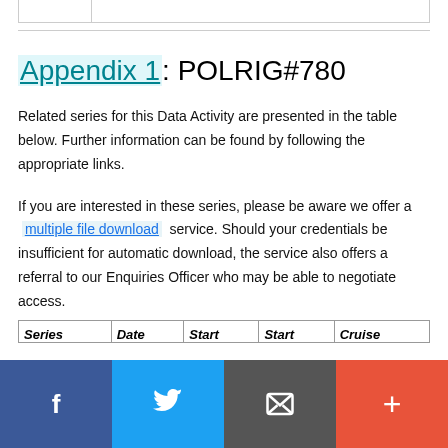Appendix 1: POLRIG#780
Related series for this Data Activity are presented in the table below. Further information can be found by following the appropriate links.
If you are interested in these series, please be aware we offer a multiple file download service. Should your credentials be insufficient for automatic download, the service also offers a referral to our Enquiries Officer who may be able to negotiate access.
| Series | Date | Start | Start | Cruise |
| --- | --- | --- | --- | --- |